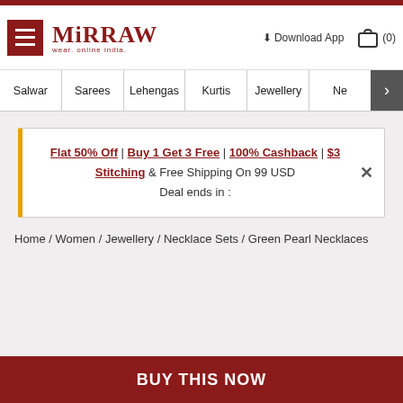Mirraw - wear. online india.
Download App  (0)
Salwar | Sarees | Lehengas | Kurtis | Jewellery | Ne >
Flat 50% Off | Buy 1 Get 3 Free | 100% Cashback | $3 Stitching & Free Shipping On 99 USD
Deal ends in :
Home / Women / Jewellery / Necklace Sets / Green Pearl Necklaces
BUY THIS NOW